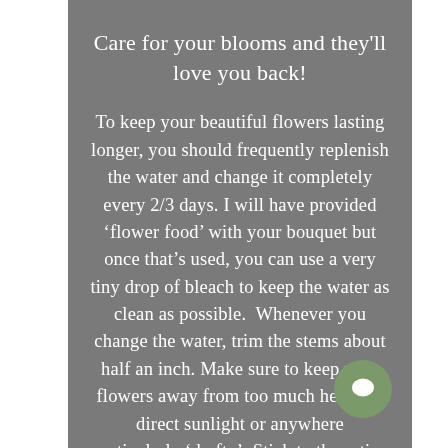Care for your blooms and they'll love you back!
To keep your beautiful flowers lasting longer, you should frequently replenish the water and change it completely every 2/3 days. I will have provided ‘flower food’ with your bouquet but once that’s used, you can use a very tiny drop of bleach to keep the water as clean as possible.  Whenever you change the water, trim the stems about half an inch. Make sure to keep your flowers away from too much heat and direct sunlight or anywhere particularly ‘drafty’. Stick to these tips and your blooms should last and last.  Call me today if you are having any issues with your blooms and I’ll do my
[Figure (illustration): A circular green chat/message button icon in the bottom-right corner of the content area.]